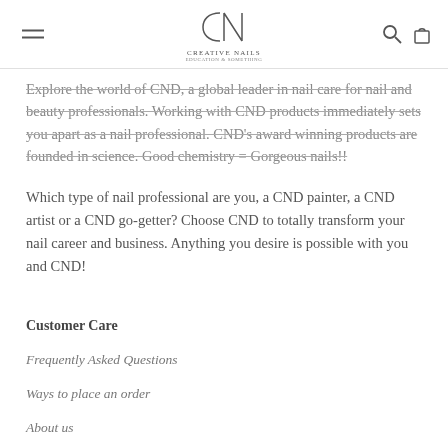CREATIVE NAILS
Explore the world of CND, a global leader in nail care for nail and beauty professionals. Working with CND products immediately sets you apart as a nail professional. CND's award winning products are founded in science. Good chemistry = Gorgeous nails!!
Which type of nail professional are you, a CND painter, a CND artist or a CND go-getter? Choose CND to totally transform your nail career and business. Anything you desire is possible with you and CND!
Customer Care
Frequently Asked Questions
Ways to place an order
About us
Careers